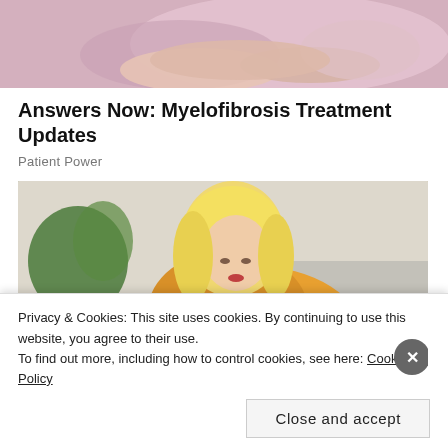[Figure (photo): Top portion of a photo showing hands, likely a caregiver and patient, with pink/mauve tones]
Answers Now: Myelofibrosis Treatment Updates
Patient Power
[Figure (photo): Woman with blonde hair wearing a yellow knit sweater, sitting on a couch, looking down at her arm/wrist. Background shows a green plant and light interior.]
Privacy & Cookies: This site uses cookies. By continuing to use this website, you agree to their use.
To find out more, including how to control cookies, see here: Cookie Policy
Close and accept